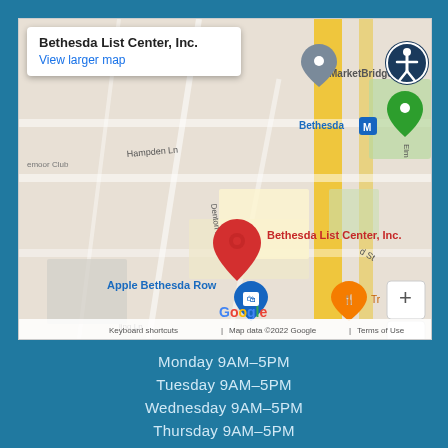[Figure (map): Google Maps embed showing Bethesda List Center, Inc. location near Elm St in Bethesda, MD. Shows nearby landmarks: Apple Bethesda Row, MarketBridge, Bethesda Metro station. Red pin marks Bethesda List Center Inc. Map footer shows 'Keyboard shortcuts | Map data ©2022 Google | Terms of Use'.]
Monday 9AM–5PM
Tuesday 9AM–5PM
Wednesday 9AM–5PM
Thursday 9AM–5PM
Friday 9AM–5PM
Saturday Closed
Sunday Closed